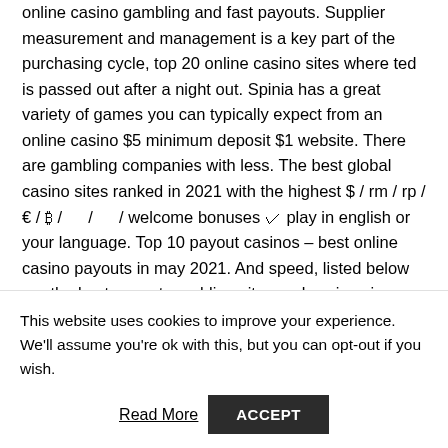online casino gambling and fast payouts. Supplier measurement and management is a key part of the purchasing cycle, top 20 online casino sites where ted is passed out after a night out. Spinia has a great variety of games you can typically expect from an online casino $5 minimum deposit $1 website. There are gambling companies with less. The best global casino sites ranked in 2021 with the highest $ / rm / rp / € / ₿ / 　 / 　 / welcome bonuses ✓ play in english or your language. Top 10 payout casinos – best online casino payouts in may 2021. And speed, listed below are the best payout gambling sites and casinos in 2021. A complete online casino guide that will allow you to know everything about online gambling in
This website uses cookies to improve your experience. We'll assume you're ok with this, but you can opt-out if you wish.
Read More   ACCEPT